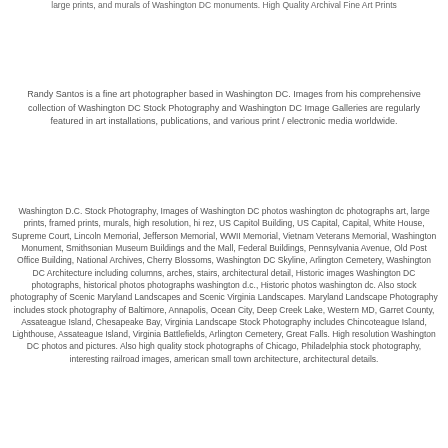large prints, and murals of Washington DC monuments. High Quality Archival Fine Art Prints
Randy Santos is a fine art photographer based in Washington DC. Images from his comprehensive collection of Washington DC Stock Photography and Washington DC Image Galleries are regularly featured in art installations, publications, and various print / electronic media worldwide.
Washington D.C. Stock Photography, Images of Washington DC photos washington dc photographs art, large prints, framed prints, murals, high resolution, hi rez, US Capitol Building, US Capital, Capital, White House, Supreme Court, Lincoln Memorial, Jefferson Memorial, WWII Memorial, Vietnam Veterans Memorial, Washington Monument, Smithsonian Museum Buildings and the Mall, Federal Buildings, Pennsylvania Avenue, Old Post Office Building, National Archives, Cherry Blossoms, Washington DC Skyline, Arlington Cemetery, Washington DC Architecture including columns, arches, stairs, architectural detail, Historic images Washington DC photographs, historical photos photographs washington d.c., Historic photos washington dc. Also stock photography of Scenic Maryland Landscapes and Scenic Virginia Landscapes. Maryland Landscape Photography includes stock photography of Baltimore, Annapolis, Ocean City, Deep Creek Lake, Western MD, Garret County, Assateague Island, Chesapeake Bay, Virginia Landscape Stock Photography includes Chincoteague Island, Lighthouse, Assateague Island, Virginia Battlefields, Arlington Cemetery, Great Falls. High resolution Washington DC photos and pictures. Also high quality stock photographs of Chicago, Philadelphia stock photography, interesting railroad images, american small town architecture, architectural details.